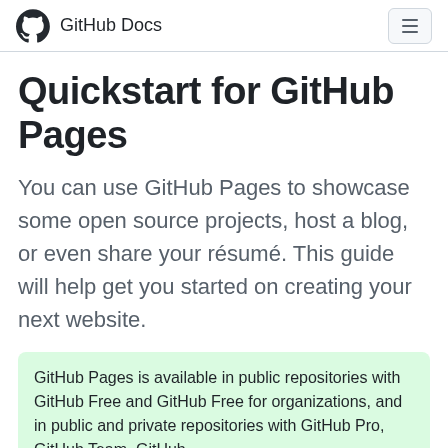GitHub Docs
Quickstart for GitHub Pages
You can use GitHub Pages to showcase some open source projects, host a blog, or even share your résumé. This guide will help get you started on creating your next website.
GitHub Pages is available in public repositories with GitHub Free and GitHub Free for organizations, and in public and private repositories with GitHub Pro, GitHub Team, GitHub